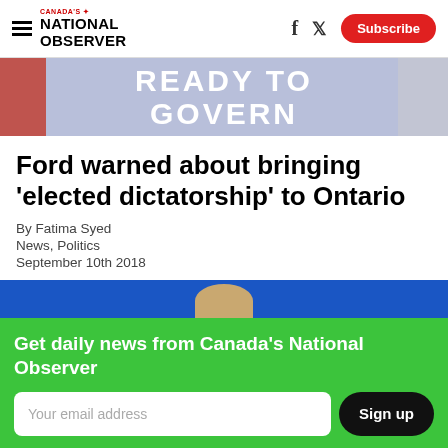Canada's National Observer
[Figure (photo): Banner photo showing a blue/purple sign reading READY TO GOVERN with a red strip on the left side]
Ford warned about bringing ‘elected dictatorship’ to Ontario
By Fatima Syed
News, Politics
September 10th 2018
[Figure (photo): Partial photo showing top of a person's head against a blue background]
Get daily news from Canada's National Observer
Your email address